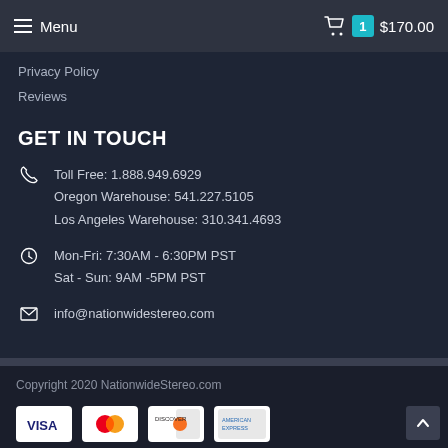Menu  $170.00
Privacy Policy
Reviews
GET IN TOUCH
Toll Free: 1.888.949.6929
Oregon Warehouse: 541.227.5105
Los Angeles Warehouse: 310.341.4693
Mon-Fri: 7:30AM - 6:30PM PST
Sat - Sun: 9AM -5PM PST
info@nationwidestereo.com
Copyright 2020 NationwideStereo.com